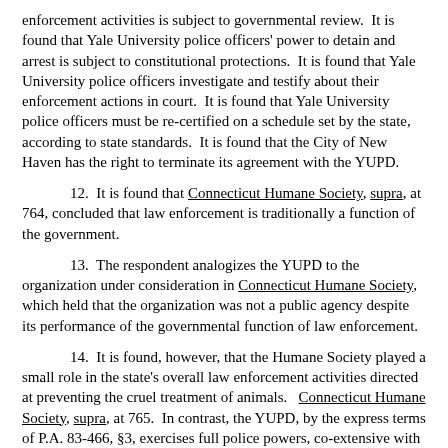enforcement activities is subject to governmental review. It is found that Yale University police officers' power to detain and arrest is subject to constitutional protections. It is found that Yale University police officers investigate and testify about their enforcement actions in court. It is found that Yale University police officers must be re-certified on a schedule set by the state, according to state standards. It is found that the City of New Haven has the right to terminate its agreement with the YUPD.
12. It is found that Connecticut Humane Society, supra, at 764, concluded that law enforcement is traditionally a function of the government.
13. The respondent analogizes the YUPD to the organization under consideration in Connecticut Humane Society, which held that the organization was not a public agency despite its performance of the governmental function of law enforcement.
14. It is found, however, that the Humane Society played a small role in the state's overall law enforcement activities directed at preventing the cruel treatment of animals. Connecticut Humane Society, supra, at 765. In contrast, the YUPD, by the express terms of P.A. 83-466, §3, exercises full police powers, co-extensive with those of the police department of the City of New Haven.